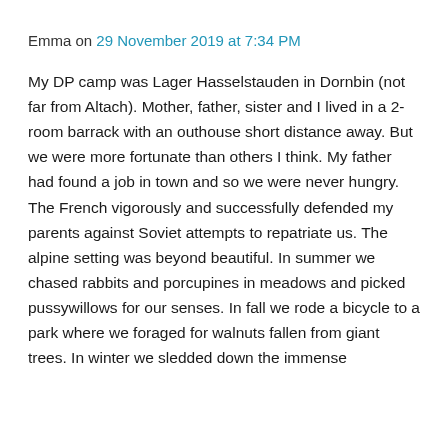Emma on 29 November 2019 at 7:34 PM
My DP camp was Lager Hasselstauden in Dornbin (not far from Altach). Mother, father, sister and I lived in a 2-room barrack with an outhouse short distance away. But we were more fortunate than others I think. My father had found a job in town and so we were never hungry. The French vigorously and successfully defended my parents against Soviet attempts to repatriate us. The alpine setting was beyond beautiful. In summer we chased rabbits and porcupines in meadows and picked pussywillows for our senses. In fall we rode a bicycle to a park where we foraged for walnuts fallen from giant trees. In winter we sledded down the immense